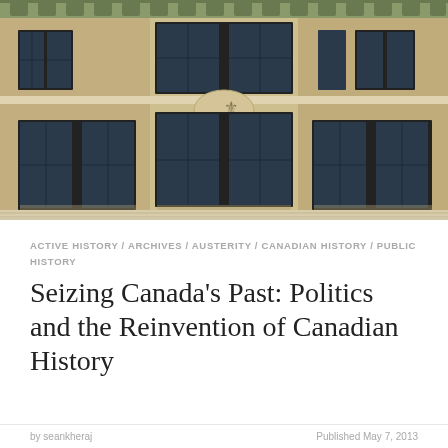[Figure (photo): Exterior facade of a stone government or academic building with multiple large windows arranged in a symmetrical pattern, photographed in daylight. The building appears to be constructed of pale limestone blocks in a classical institutional style.]
ACTIVE HISTORY / ARCHIVES / AUSTERITY / CANADIAN HISTORY / PUBLIC HISTORY
Seizing Canada’s Past: Politics and the Reinvention of Canadian History
by seankheraj    Published May 7, 2013